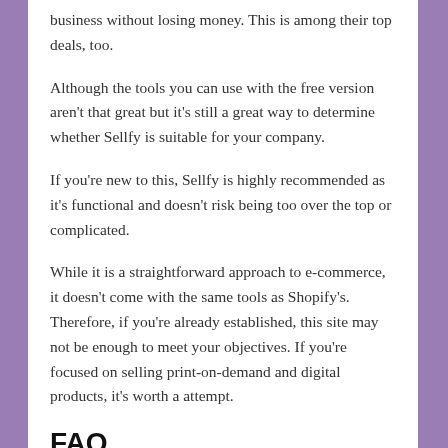business without losing money. This is among their top deals, too.
Although the tools you can use with the free version aren't that great but it's still a great way to determine whether Sellfy is suitable for your company.
If you're new to this, Sellfy is highly recommended as it's functional and doesn't risk being too over the top or complicated.
While it is a straightforward approach to e-commerce, it doesn't come with the same tools as Shopify's. Therefore, if you're already established, this site may not be enough to meet your objectives. If you're focused on selling print-on-demand and digital products, it's worth a attempt.
FAQ
To aid you in understanding Sellfy better, here's a compilation of